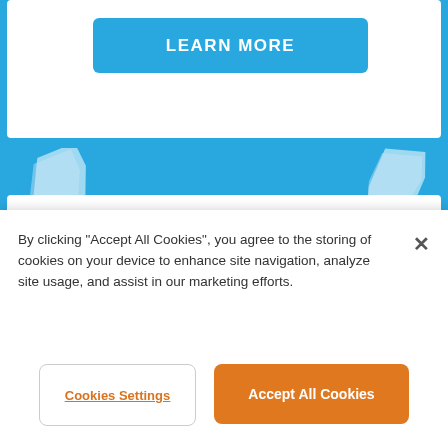[Figure (other): A teal/blue button labeled LEARN MORE on a white card background]
[Figure (photo): Close-up photo of hands holding a diamond ring near a wrist/finger, with a pink background. Jewelry product photo for Bevilles.]
Bevilles
By clicking “Accept All Cookies”, you agree to the storing of cookies on your device to enhance site navigation, analyze site usage, and assist in our marketing efforts.
Cookies Settings
Accept All Cookies